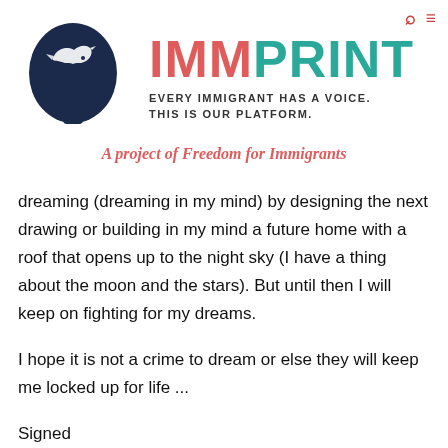[Figure (logo): IMMprint logo: dark navy silhouette of a human head in profile with a dove/bird shape inside, facing right]
IMMPRINT
EVERY IMMIGRANT HAS A VOICE. THIS IS OUR PLATFORM.
A project of Freedom for Immigrants
dreaming (dreaming in my mind) by designing the next drawing or building in my mind a future home with a roof that opens up to the night sky (I have a thing about the moon and the stars). But until then I will keep on fighting for my dreams.
I hope it is not a crime to dream or else they will keep me locked up for life ...
Signed